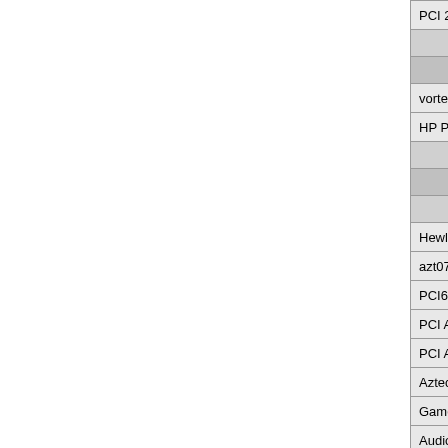| PCI 288 driver |
|  |
|  |
| vortex 338a driver |
| HP P/N 5064-2620 driver |
|  |
|  |
|  |
| Hewlett-Packard ScanJet 2200C driver |
| azt072 driver |
| PCI64-q3d driver |
| PCI Audio driver |
| PCI Audio Game Port driver |
| Aztech Sound Galaxy Basic 16 driver |
| Gameport Joystick driver |
| Audio Device (ADS7181) driver |
| azf3328 driver |
| azf3328 driver |
| 16-Bit Audio Driver driver |
| AZT3011PnP part1 driver |
| AZT3011PnP part2 driver |
| 2320 pnp sound driver |
|  |